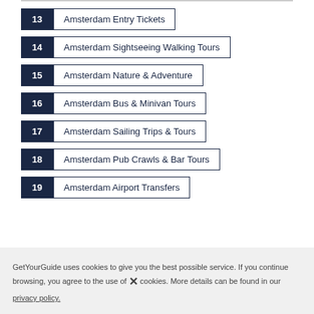13  Amsterdam Entry Tickets
14  Amsterdam Sightseeing Walking Tours
15  Amsterdam Nature & Adventure
16  Amsterdam Bus & Minivan Tours
17  Amsterdam Sailing Trips & Tours
18  Amsterdam Pub Crawls & Bar Tours
19  Amsterdam Airport Transfers
GetYourGuide uses cookies to give you the best possible service. If you continue browsing, you agree to the use of cookies. More details can be found in our privacy policy.